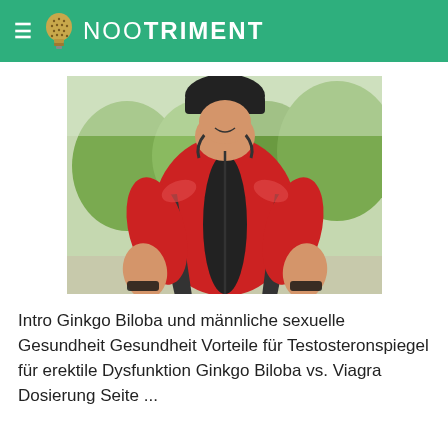NOOTRIMENT
[Figure (photo): A male cyclist in a red cycling jersey and helmet, viewed from the torso up, riding a bicycle outdoors with green trees and a road in the background.]
Intro Ginkgo Biloba und männliche sexuelle Gesundheit Gesundheit Vorteile für Testosteronspiegel für erektile Dysfunktion Ginkgo Biloba vs. Viagra Dosierung Seite ...